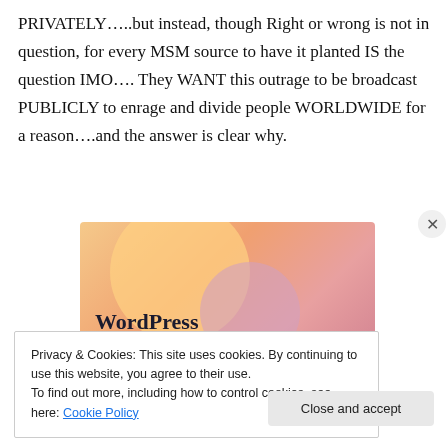PRIVATELY…..but instead, though Right or wrong is not in question, for every MSM source to have it planted IS the question IMO…. They WANT this outrage to be broadcast PUBLICLY to enrage and divide people WORLDWIDE for a reason….and the answer is clear why.
[Figure (illustration): WordPress advertisement banner with text 'WordPress in the back.' on a warm gradient background with overlapping circles in orange, peach, and mauve tones.]
Privacy & Cookies: This site uses cookies. By continuing to use this website, you agree to their use.
To find out more, including how to control cookies, see here: Cookie Policy